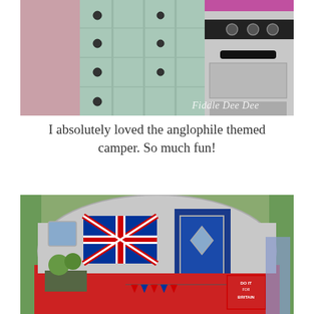[Figure (photo): Interior of an anglophile-themed camper showing mint green cabinets with black hardware on the left and a retro-style stove/oven on the right with a 'Fiddle Dee Dee' watermark in the bottom right corner]
I absolutely loved the anglophile themed camper.  So much fun!
[Figure (photo): Exterior of a vintage camper trailer painted red, white, and navy blue with a Union Jack flag on the side, navy blue door area, Union Jack bunting, and a 'Do It For Britain' sign]